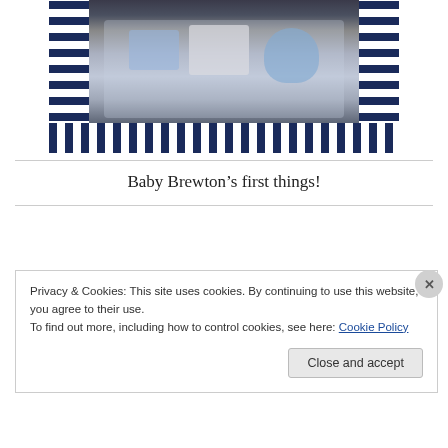[Figure (photo): A basket with navy blue and white striped lining containing baby items including clothing, diapers, and a blue elephant plush toy, photographed indoors.]
Baby Brewton’s first things!
Privacy & Cookies: This site uses cookies. By continuing to use this website, you agree to their use.
To find out more, including how to control cookies, see here: Cookie Policy